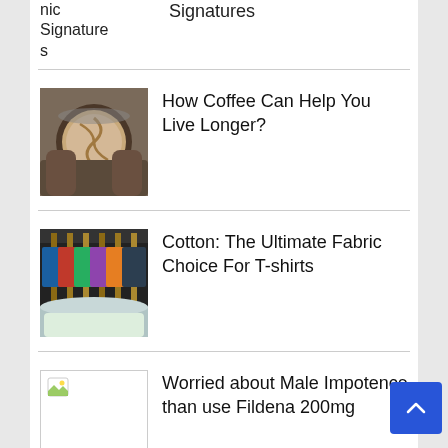nic Signatures
How Coffee Can Help You Live Longer?
Cotton: The Ultimate Fabric Choice For T-shirts
Worried about Male Impotence than use Fildena 200mg